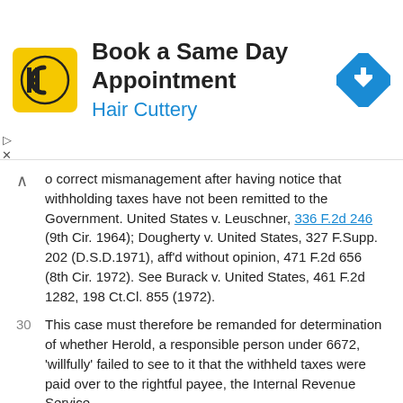[Figure (other): Hair Cuttery advertisement banner with logo, 'Book a Same Day Appointment' heading, and navigation arrow icon]
o correct mismanagement after having notice that withholding taxes have not been remitted to the Government. United States v. Leuschner, 336 F.2d 246 (9th Cir. 1964); Dougherty v. United States, 327 F.Supp. 202 (D.S.D.1971), aff'd without opinion, 471 F.2d 656 (8th Cir. 1972). See Burack v. United States, 461 F.2d 1282, 198 Ct.Cl. 855 (1972).
30 This case must therefore be remanded for determination of whether Herold, a responsible person under 6672, 'willfully' failed to see to it that the withheld taxes were paid over to the rightful payee, the Internal Revenue Service.
* —
Honorable A. Sherman Christensen of the United States District Court for the District of Utah, sitting by designation
1